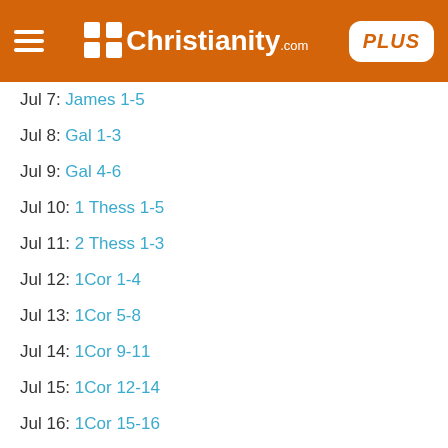Christianity.com PLUS
Jul 7: James 1-5
Jul 8: Gal 1-3
Jul 9: Gal 4-6
Jul 10: 1 Thess 1-5
Jul 11: 2 Thess 1-3
Jul 12: 1Cor 1-4
Jul 13: 1Cor 5-8
Jul 14: 1Cor 9-11
Jul 15: 1Cor 12-14
Jul 16: 1Cor 15-16
Jul 17: 2Cor 1-4
Jul 18: 2Cor 5-9
Jul 19: 2Cor 10-13